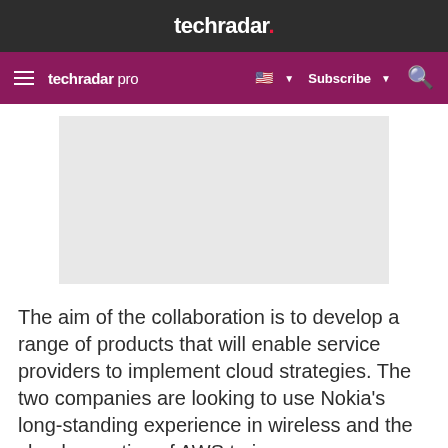techradar.
techradar pro  Subscribe
[Figure (other): Advertisement placeholder box, light grey background]
The aim of the collaboration is to develop a range of products that will enable service providers to implement cloud strategies. The two companies are looking to use Nokia’s long-standing experience in wireless and the cloud expertise of AWS to improve